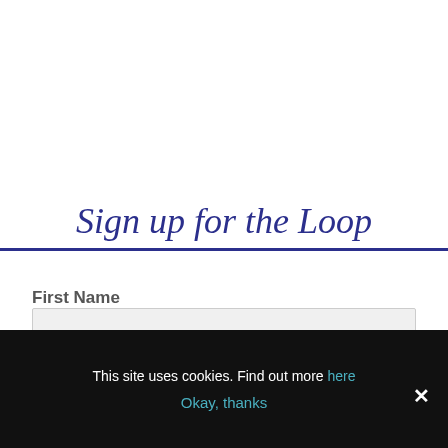Sign up for the Loop
First Name
Last Name
This site uses cookies. Find out more here
Okay, thanks